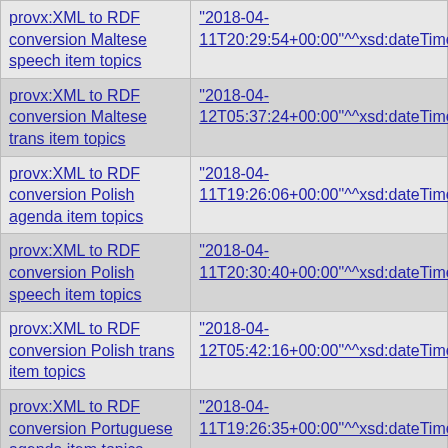| Activity | Timestamp |
| --- | --- |
| provx:XML to RDF conversion Maltese speech item topics | "2018-04-11T20:29:54+00:00"^^xsd:dateTime |
| provx:XML to RDF conversion Maltese trans item topics | "2018-04-12T05:37:24+00:00"^^xsd:dateTime |
| provx:XML to RDF conversion Polish agenda item topics | "2018-04-11T19:26:06+00:00"^^xsd:dateTime |
| provx:XML to RDF conversion Polish speech item topics | "2018-04-11T20:30:40+00:00"^^xsd:dateTime |
| provx:XML to RDF conversion Polish trans item topics | "2018-04-12T05:42:16+00:00"^^xsd:dateTime |
| provx:XML to RDF conversion Portuguese agenda item topics | "2018-04-11T19:26:35+00:00"^^xsd:dateTime |
| provx:XML to RDF conversion Portuguese speech item topics | "2018-04-11T20:32:02+00:00"^^xsd:dateTime |
| provx:XML to RDF conversion Portuguese trans item topics | "2018-04-12T05:48:17+00:00"^^xsd:dateTime |